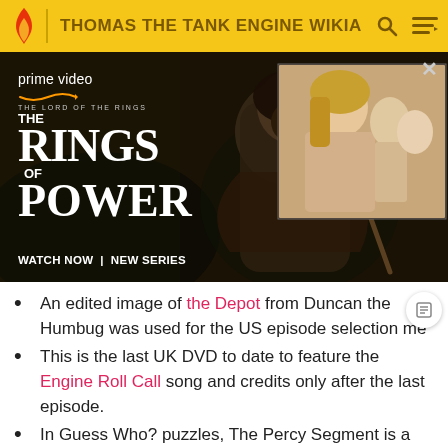THOMAS THE TANK ENGINE WIKIA
[Figure (screenshot): Amazon Prime Video advertisement for 'The Lord of the Rings: The Rings of Power' showing a cloaked figure and a blonde woman. Text reads: 'prime video', 'THE LORD OF THE RINGS THE RINGS OF POWER', 'WATCH NOW | NEW SERIES'. Has a close X button and ADVERTISEMENT label.]
An edited image of the Depot from Duncan the Humbug was used for the US episode selection me
This is the last UK DVD to date to feature the Engine Roll Call song and credits only after the last episode.
In Guess Who? puzzles, The Percy Segment is a higher pitch.
DVD Packs